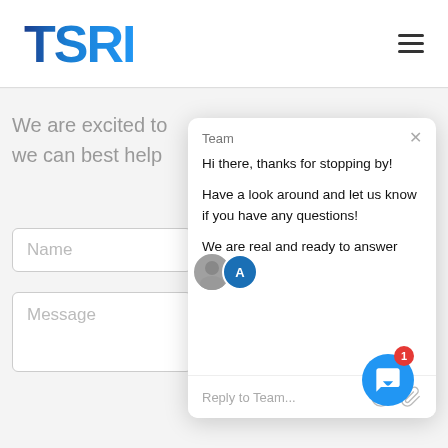[Figure (logo): TSRI logo in blue gradient with hamburger menu icon]
We are excited to
we can best help
Name
Message
[Figure (screenshot): Chat popup widget with Team label, close button, greeting messages, avatar photos, and reply input field. Text reads: Hi there, thanks for stopping by! Have a look around and let us know if you have any questions! We are real and ready to answer them. Reply input: Reply to Team...]
[Figure (other): Blue circular chat button with white speech bubble icon and red notification badge showing 1]